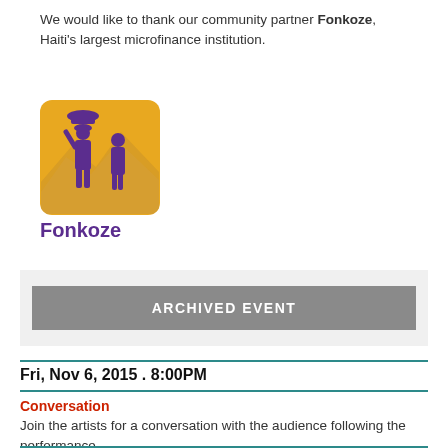We would like to thank our community partner Fonkoze, Haiti's largest microfinance institution.
[Figure (logo): Fonkoze logo: orange/gold rounded square background with purple silhouette of two people, one carrying a basket on their head. Text 'Fonkoze' in purple below the image.]
ARCHIVED EVENT
Fri, Nov 6, 2015 . 8:00PM
Conversation
Join the artists for a conversation with the audience following the performance.